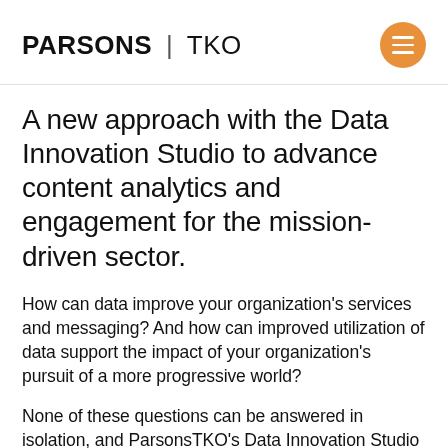PARSONS | TKO
A new approach with the Data Innovation Studio to advance content analytics and engagement for the mission-driven sector.
How can data improve your organization's services and messaging? And how can improved utilization of data support the impact of your organization's pursuit of a more progressive world?
None of these questions can be answered in isolation, and ParsonsTKO's Data Innovation Studio